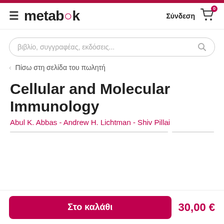metabook — Σύνδεση — Cart 0
βιβλίο, συγγραφέας, εκδόσεις...
< Πίσω στη σελίδα του πωλητή
Cellular and Molecular Immunology
Abul K. Abbas - Andrew H. Lichtman - Shiv Pillai
Στο καλάθι
30,00 €